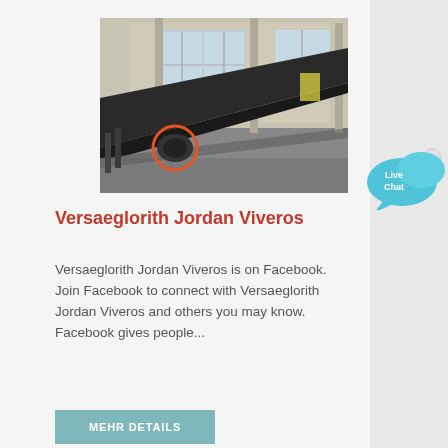[Figure (photo): Industrial photo showing a large dark conveyor belt or steel ramp propped up inside a warehouse/factory building, resting on a cylindrical roller. An orange circle highlights the roller at the base. Large windows visible in the background.]
[Figure (other): Live Chat bubble widget in blue with an X close button in the top-right corner]
Versaeglorith Jordan Viveros
Versaeglorith Jordan Viveros is on Facebook. Join Facebook to connect with Versaeglorith Jordan Viveros and others you may know. Facebook gives people...
MEHR DETAILS